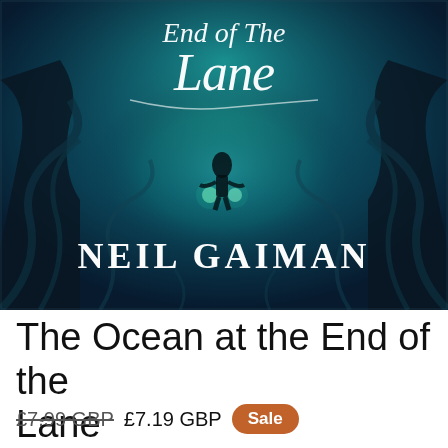[Figure (illustration): Book cover of 'The Ocean at the End of the Lane' by Neil Gaiman. Dark teal/blue atmospheric background with swirling tendrils and glowing lights. A small silhouetted figure stands in the center. The title 'End of The Lane' is written in white cursive script at the top, and 'NEIL GAIMAN' appears in large white serif letters at the bottom.]
The Ocean at the End of the Lane
£7.99 GBP  £7.19 GBP  Sale